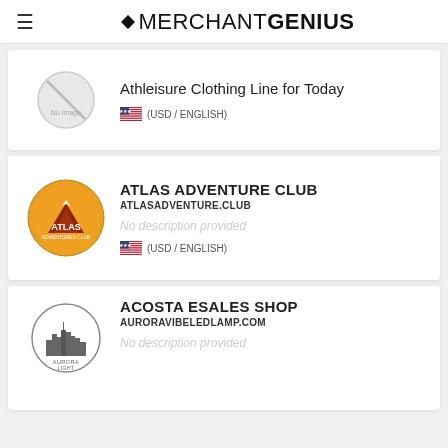MERCHANTGENIUS
Athleisure Clothing Line for Today
(USD / ENGLISH)
ATLAS ADVENTURE CLUB
ATLASADVENTURE.CLUB
No description provided
(USD / ENGLISH)
ACOSTA ESALES SHOP
AURORAVIBELEDLAMP.COM
No description provided